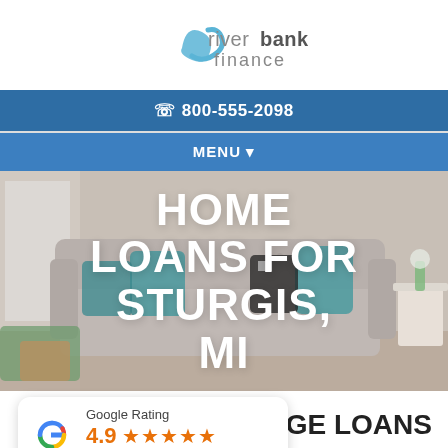[Figure (logo): Riverbank Finance logo with stylized blue swoosh and text 'riverbank finance']
800-555-2098
MENU
[Figure (photo): Living room with a grey tufted sofa and teal/blue decorative pillows, with text overlay 'HOME LOANS FOR STURGIS, MI']
HOME LOANS FOR STURGIS, MI
[Figure (infographic): Google Rating card showing 4.9 stars based on 656 reviews]
AGE LOANS